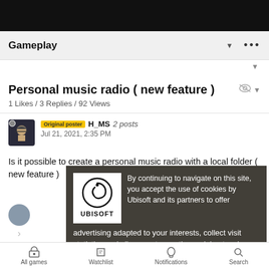Gameplay
Personal music radio ( new feature )
1 Likes / 3 Replies / 92 Views
Original poster  H_MS  2 posts
Jul 21, 2021, 2:35 PM
Is it possible to create a personal music radio with a local folder ( new feature )
[Figure (screenshot): Ubisoft cookie consent banner overlay with Ubisoft logo, text about cookies, and an OK button]
All games   Watchlist   Notifications   Search